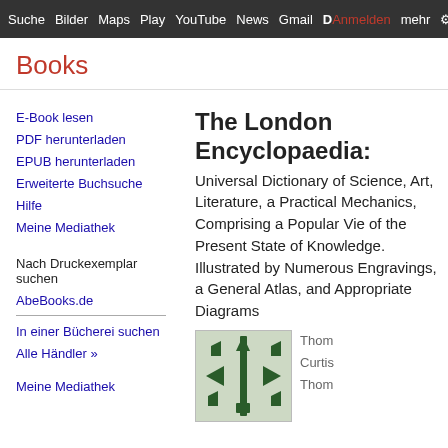Suche  Bilder  Maps  Play  YouTube  News  Gmail  D  Anmelden  mehr  +  ⚙
Books
E-Book lesen
PDF herunterladen
EPUB herunterladen
Erweiterte Buchsuche
Hilfe
Meine Mediathek
Nach Druckexemplar suchen
AbeBooks.de
In einer Bücherei suchen
Alle Händler »
Meine Mediathek
The London Encyclopaedia:
Universal Dictionary of Science, Art, Literature, a Practical Mechanics, Comprising a Popular Vie of the Present State of Knowledge. Illustrated by Numerous Engravings, a General Atlas, and Appropriate Diagrams
[Figure (illustration): Thumbnail image of book cover showing engineering/mechanical diagrams with geometric shapes and arrows on green background]
Thom Curtis Thom